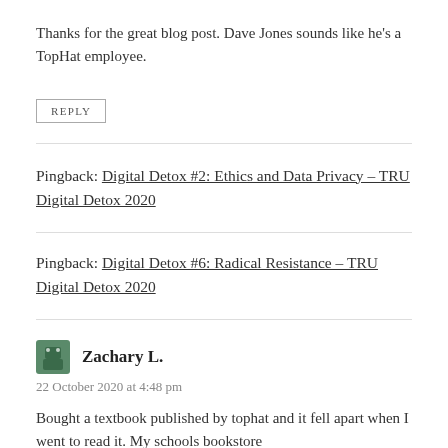Thanks for the great blog post. Dave Jones sounds like he’s a TopHat employee.
REPLY
Pingback: Digital Detox #2: Ethics and Data Privacy – TRU Digital Detox 2020
Pingback: Digital Detox #6: Radical Resistance – TRU Digital Detox 2020
Zachary L.
22 October 2020 at 4:48 pm
Bought a textbook published by tophat and it fell apart when I went to read it. My schools bookstore